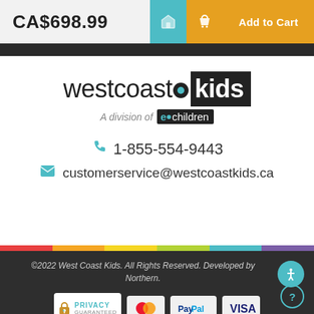CA$698.99
Add to Cart
[Figure (logo): West Coast Kids logo - 'westcoast' in light font followed by a dot icon and 'kids' in a black box; below: 'A division of e•children']
1-855-554-9443
customerservice@westcoastkids.ca
©2022 West Coast Kids. All Rights Reserved. Developed by Northern.
[Figure (logo): Payment badges: Privacy Guaranteed lock icon, MasterCard, PayPal, VISA]